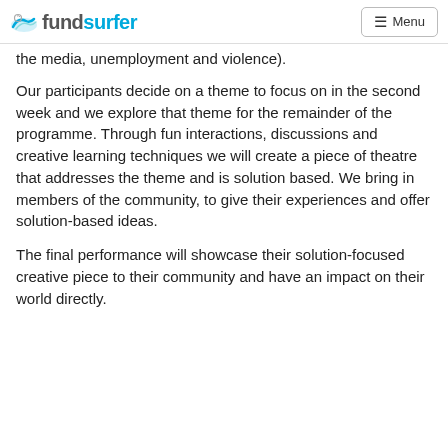fundsurfer — Menu
the media, unemployment and violence).
Our participants decide on a theme to focus on in the second week and we explore that theme for the remainder of the programme. Through fun interactions, discussions and creative learning techniques we will create a piece of theatre that addresses the theme and is solution based. We bring in members of the community, to give their experiences and offer solution-based ideas.
The final performance will showcase their solution-focused creative piece to their community and have an impact on their world directly.